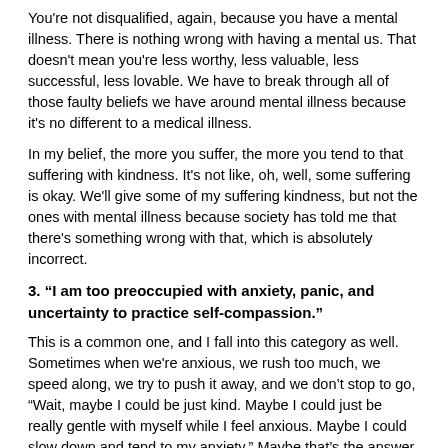You're not disqualified, again, because you have a mental illness. There is nothing wrong with having a mental us. That doesn't mean you're less worthy, less valuable, less successful, less lovable. We have to break through all of those faulty beliefs we have around mental illness because it's no different to a medical illness.
In my belief, the more you suffer, the more you tend to that suffering with kindness. It's not like, oh, well, some suffering is okay. We'll give some of my suffering kindness, but not the ones with mental illness because society has told me that there's something wrong with that, which is absolutely incorrect.
3. “I am too preoccupied with anxiety, panic, and uncertainty to practice self-compassion.”
This is a common one, and I fall into this category as well. Sometimes when we're anxious, we rush too much, we speed along, we try to push it away, and we don't stop to go, “Wait, maybe I could be just kind. Maybe I could just be really gentle with myself while I feel anxious. Maybe I could slow down and tend to my anxiety.” Maybe that’s the answer instead of trying to push it away or have it be gone, because that is the answer.
4. “It feels wrong to practice self-compassion.”
Now, this is a really good definition of what we would call “emotional reasoning.” It goes under the cognitive distortion that, just because I feel it, it